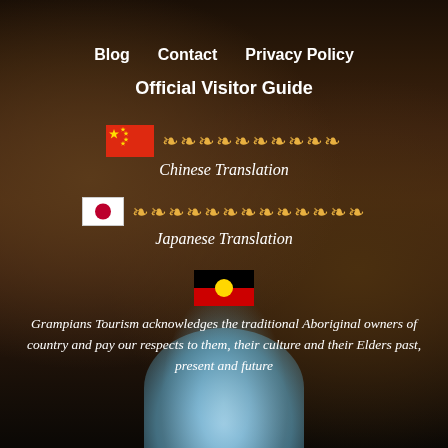[Figure (photo): Dark rocky landscape background with warm brown tones, rocks forming an arch or cave opening with sky visible at bottom center]
Blog    Contact    Privacy Policy
Official Visitor Guide
Chinese Translation
Japanese Translation
Grampians Tourism acknowledges the traditional Aboriginal owners of country and pay our respects to them, their culture and their Elders past, present and future